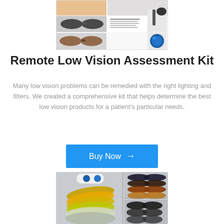[Figure (photo): Photo collage of low vision glasses, lenses, a clip-on lamp, and a blue lens sample — products in the Remote Low Vision Assessment Kit]
Remote Low Vision Assessment Kit
Many low vision problems can be remedied with the right lighting and filters. We created a comprehensive kit that helps determine the best low vision products for a patient's particular needs.
[Figure (other): Buy Now button with right arrow, blue background]
[Figure (photo): Photo collage showing multiple pairs of tinted low vision filter glasses and colored lens frames arranged in a fan/stack pattern]